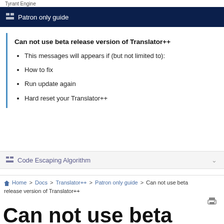Tyrant Engine
Patron only guide
Can not use beta release version of Translator++
This messages will appears if (but not limited to):
How to fix
Run update again
Hard reset your Translator++
Code Escaping Algorithm
Home > Docs > Translator++ > Patron only guide > Can not use beta release version of Translator++
Can not use beta